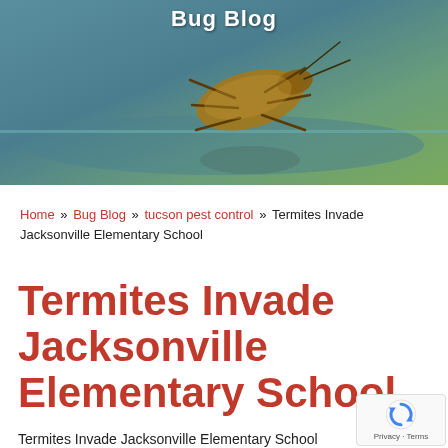[Figure (photo): Header banner image with a cockroach on a reflective surface, teal/green tones, with 'Bug Blog' text overlay at the top center]
Bug Blog
Home » Bug Blog » tucson pest control » Termites Invade Jacksonville Elementary School
Termites Invade Jacksonville Elementary School
Termites Invade Jacksonville Elementary School